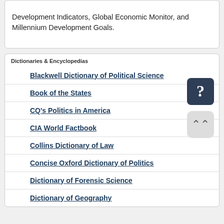Development Indicators, Global Economic Monitor, and Millennium Development Goals.
Dictionaries & Encyclopedias
Blackwell Dictionary of Political Science
Book of the States
CQ's Politics in America
CIA World Factbook
Collins Dictionary of Law
Concise Oxford Dictionary of Politics
Dictionary of Forensic Science
Dictionary of Geography